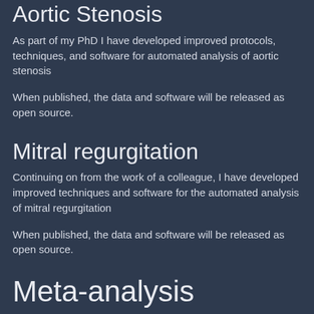Aortic Stenosis
As part of my PhD I have developed improved protocols, techniques, and software for automated analysis of aortic stenosis
When published, the data and software will be released as open source.
Mitral regurgitation
Continuing on from the work of a colleague, I have developed improved techniques and software for the automated analysis of mitral regurgitation
When published, the data and software will be released as open source.
Meta-analysis